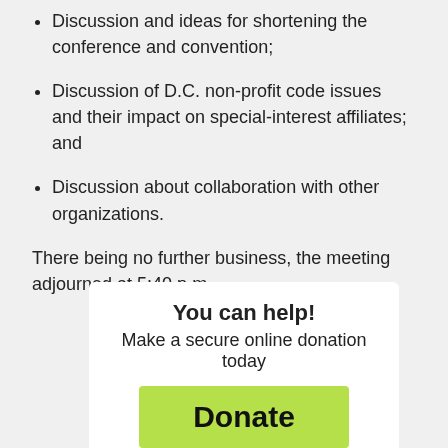Discussion and ideas for shortening the conference and convention;
Discussion of D.C. non-profit code issues and their impact on special-interest affiliates; and
Discussion about collaboration with other organizations.
There being no further business, the meeting adjourned at 5:40 p.m.
You can help!
Make a secure online donation today
Donate